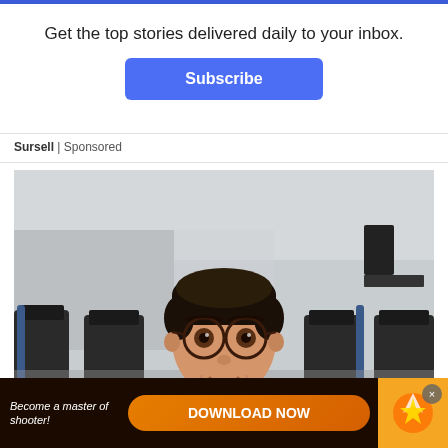Get the top stories delivered daily to your inbox.
Subscribe
Sursell | Sponsored
[Figure (photo): A young boy with round glasses wearing a patterned shirt, seated at an airport gate waiting area with dark chairs visible behind him.]
[Figure (infographic): Bottom advertisement banner with text 'Become a master of shooter!' and a 'DOWNLOAD NOW' button on a dark background with golden decorative elements.]